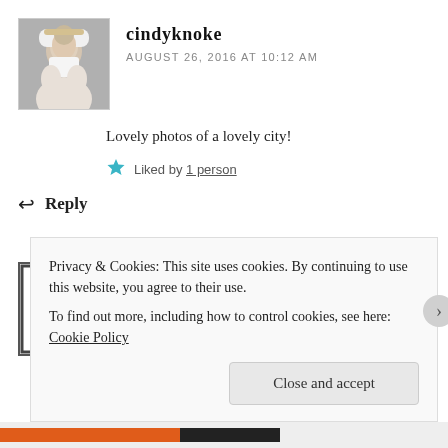[Figure (photo): Avatar photo of cindyknoke, a woman with short blonde hair wearing a white top]
cindyknoke
AUGUST 26, 2016 AT 10:12 AM
Lovely photos of a lovely city!
Liked by 1 person
Reply
[Figure (illustration): Avatar icon for susan@onesmallwalk showing a green snowflake/asterisk pattern]
susan@onesmallwalk
AUGUST 27, 2016 AT 8:14 AM
Privacy & Cookies: This site uses cookies. By continuing to use this website, you agree to their use.
To find out more, including how to control cookies, see here: Cookie Policy
Close and accept